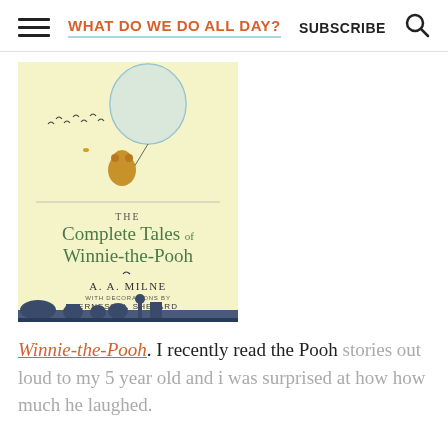WHAT DO WE DO ALL DAY? | SUBSCRIBE
[Figure (photo): Book cover of 'The Complete Tales of Winnie-the-Pooh' by A. A. Milne with decorations by Ernest H. Shepard. Yellow background with illustration of Winnie-the-Pooh hanging from a balloon, birds flying, and silhouetted characters at the bottom.]
Winnie-the-Pooh. I recently read the Pooh stories out loud to my 5 year old and i was surprised at how how much he laughed.